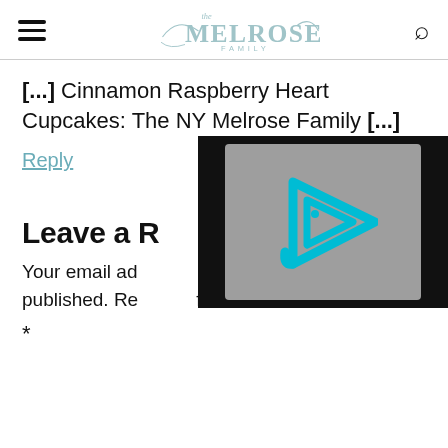The Melrose Family
[...]  Cinnamon Raspberry Heart Cupcakes: The NY Melrose Family [...]
Reply
Leave a R[eply]
Your email ad[dress will not be] published. Required fields are marked
*
[Figure (other): Video player overlay with cyan/teal play button triangle icon with 'i' inside on a grey background with black borders]